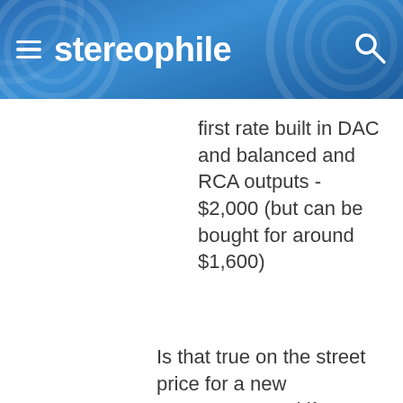stereophile
first rate built in DAC and balanced and RCA outputs - $2,000 (but can be bought for around $1,600)
Is that true on the street price for a new Transporter, and if